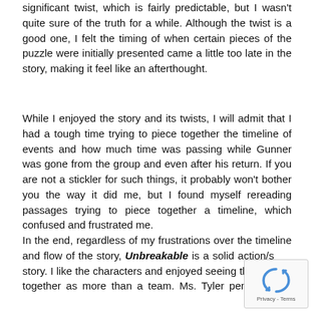significant twist, which is fairly predictable, but I wasn't quite sure of the truth for a while. Although the twist is a good one, I felt the timing of when certain pieces of the puzzle were initially presented came a little too late in the story, making it feel like an afterthought.
While I enjoyed the story and its twists, I will admit that I had a tough time trying to piece together the timeline of events and how much time was passing while Gunner was gone from the group and even after his return. If you are not a stickler for such things, it probably won't bother you the way it did me, but I found myself rereading passages trying to piece together a timeline, which confused and frustrated me.
In the end, regardless of my frustrations over the timeline and flow of the story, Unbreakable is a solid action/s[tory. I like the characters and enjoyed seeing the] together as more than a team. Ms. Tyler pens a good [balance]